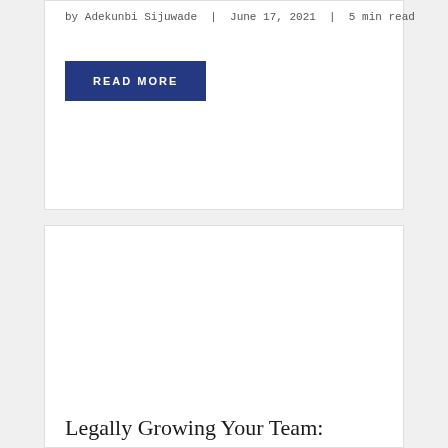by Adekunbi Sijuwade | June 17, 2021 | 5 min read
READ MORE
[Figure (photo): Blank white image area inside second blog post card]
Legally Growing Your Team: